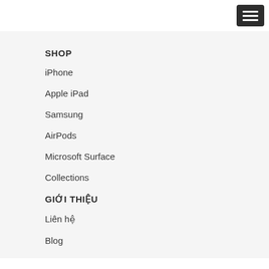[Figure (other): Hamburger menu button (three horizontal lines on dark background) in top-right corner]
SHOP
iPhone
Apple iPad
Samsung
AirPods
Microsoft Surface
Collections
GIỚI THIỆU
Liên hệ
Blog